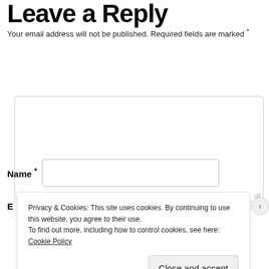Leave a Reply
Your email address will not be published. Required fields are marked *
[Figure (other): Large empty textarea input box for comment]
Name *
[Figure (other): Text input field for Name]
E
[Figure (other): Text input field for Email (partially visible)]
Privacy & Cookies: This site uses cookies. By continuing to use this website, you agree to their use.
To find out more, including how to control cookies, see here: Cookie Policy
Close and accept